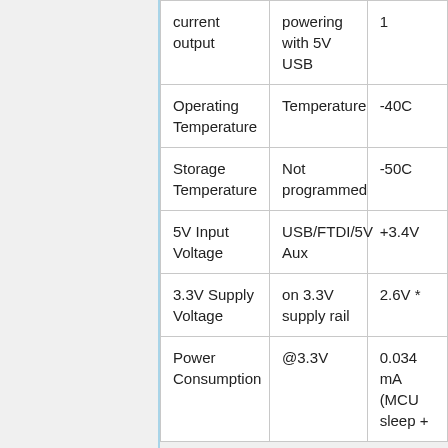| current output | powering with 5V USB | 1 |
| Operating Temperature | Temperature | -40C | + |
| Storage Temperature | Not programmed | -50C |  |
| 5V Input Voltage | USB/FTDI/5V Aux | +3.4V | + |
| 3.3V Supply Voltage | on 3.3V supply rail | 2.6V * | 3 |
| Power Consumption | @3.3V | 0.034 mA (MCU sleep + | 7 |